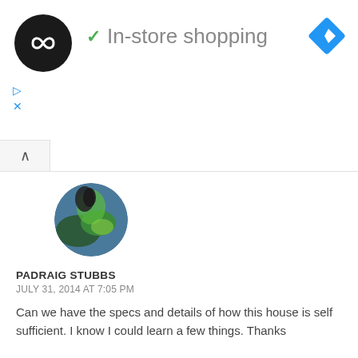[Figure (screenshot): Ad banner with circular logo (dark with infinity symbol), green checkmark, 'In-store shopping' text, blue diamond navigation icon, and play/close ad controls]
[Figure (photo): Round avatar of a user – colorful landscape/nature image]
PADRAIG STUBBS
JULY 31, 2014 AT 7:05 PM
Can we have the specs and details of how this house is self sufficient. I know I could learn a few things. Thanks
↩ REPLY
[Figure (photo): Round avatar photo of a woman (Vina Lustado) wearing white]
VINA LUSTADO
AUGUST 8, 2014 AT 12:23 AM